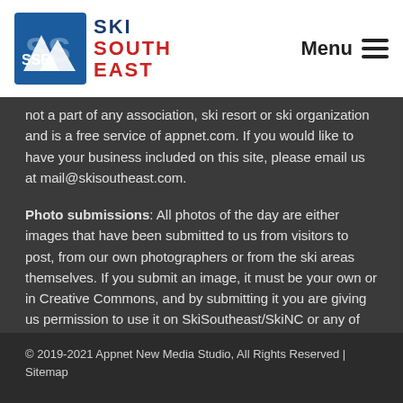[Figure (logo): Ski South East logo with blue mountain icon and red/blue text]
Menu ≡
not a part of any association, ski resort or ski organization and is a free service of appnet.com. If you would like to have your business included on this site, please email us at mail@skisoutheast.com.
Photo submissions: All photos of the day are either images that have been submitted to us from visitors to post, from our own photographers or from the ski areas themselves. If you submit an image, it must be your own or in Creative Commons, and by submitting it you are giving us permission to use it on SkiSoutheast/SkiNC or any of our creative designs. Please submit images that are relatively large, the ideal size being 800 to 1200 pixels or larger on the longest side. Please include a description of your photo, so that other readers know what they're looking at.
© 2019-2021 Appnet New Media Studio, All Rights Reserved | Sitemap